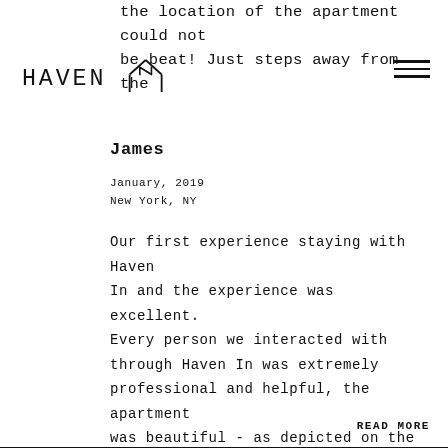the location of the apartment could not be beat! Just steps away from the
[Figure (logo): Haven In logo with house/roof icon]
James
January, 2019
New York, NY
Our first experience staying with Haven In and the experience was excellent. Every person we interacted with through Haven In was extremely professional and helpful, the apartment was beautiful - as depicted on the website - and immaculately clean. We
READ MORE